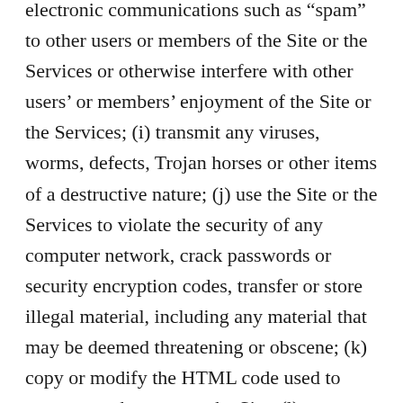electronic communications such as “spam” to other users or members of the Site or the Services or otherwise interfere with other users’ or members’ enjoyment of the Site or the Services; (i) transmit any viruses, worms, defects, Trojan horses or other items of a destructive nature; (j) use the Site or the Services to violate the security of any computer network, crack passwords or security encryption codes, transfer or store illegal material, including any material that may be deemed threatening or obscene; (k) copy or modify the HTML code used to generate web pages on the Site; (l) use any device, software or procedure that interferes with the proper working of the Site or the Services, or otherwise attempt to interfere with the proper working of the Site or the Services; (m) take any